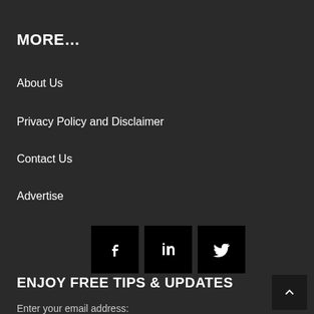MORE…
About Us
Privacy Policy and Disclaimer
Contact Us
Advertise
[Figure (infographic): Three social media icon buttons: Facebook (f), LinkedIn (in), Twitter (bird icon), each white icon on black square background]
ENJOY FREE TIPS & UPDATES
Enter your email address: